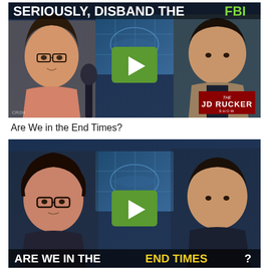[Figure (screenshot): Video thumbnail for 'Seriously, Disband the FBI' featuring two people (a woman with glasses on left, a man on right) in a news studio setting with a world map backdrop, a green play button in the center, and a JD Rucker Show badge in the lower right]
Are We in the End Times?
[Figure (screenshot): Video thumbnail for 'Are We in the End Times?' featuring two people (a woman with glasses on left, a man on right) in a news studio setting with a world map backdrop, a green play button in the center, and text 'ARE WE IN THE END TIMES?' along the bottom with 'END TIMES' highlighted in yellow]